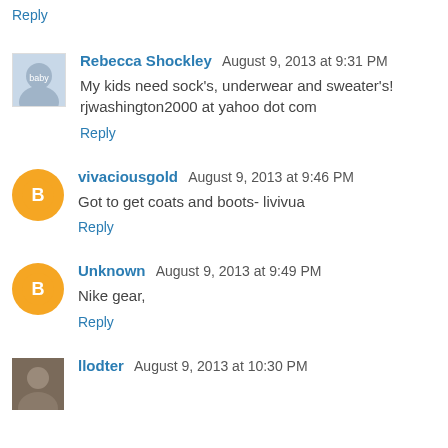Reply
Rebecca Shockley  August 9, 2013 at 9:31 PM
My kids need sock's, underwear and sweater's! rjwashington2000 at yahoo dot com
Reply
vivaciousgold  August 9, 2013 at 9:46 PM
Got to get coats and boots- livivua
Reply
Unknown  August 9, 2013 at 9:49 PM
Nike gear,
Reply
llodter  August 9, 2013 at 10:30 PM